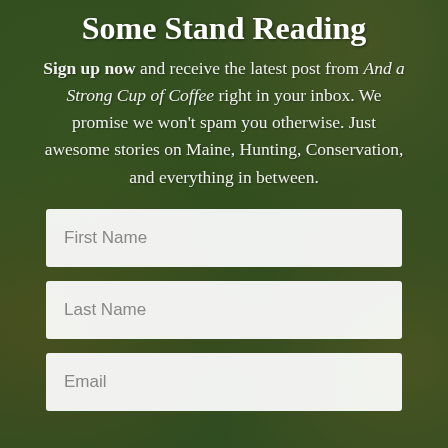Some Stand Reading
Sign up now and receive the latest post from And a Strong Cup of Coffee right in your inbox. We promise we won't spam you otherwise. Just awesome stories on Maine, Hunting, Conservation, and everything in between.
First Name
Last Name
Email